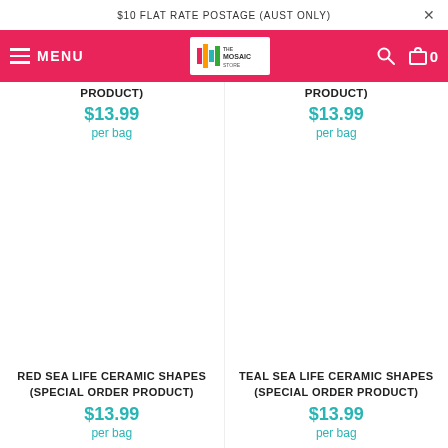$10 FLAT RATE POSTAGE (AUST ONLY)
[Figure (screenshot): E-commerce navigation bar with hamburger menu, MENU text, The Mosaic Store logo, search icon, and cart icon showing 0 items]
PRODUCT)
$13.99
per bag
PRODUCT)
$13.99
per bag
RED SEA LIFE CERAMIC SHAPES (SPECIAL ORDER PRODUCT)
$13.99
per bag
TEAL SEA LIFE CERAMIC SHAPES (SPECIAL ORDER PRODUCT)
$13.99
per bag